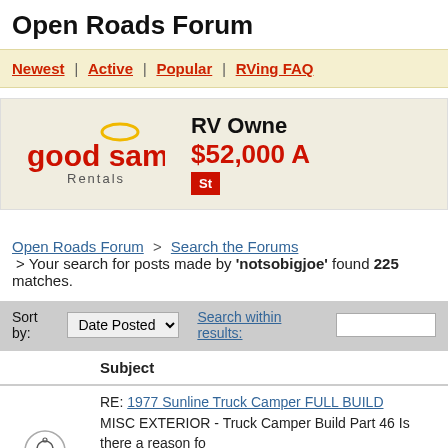Open Roads Forum
Newest | Active | Popular | RVing FAQ
[Figure (infographic): Good Sam Rentals advertisement banner showing logo and text 'RV Owner $52,000 A' with a red button partially visible]
Open Roads Forum > Search the Forums
 > Your search for posts made by 'notsobigjoe' found 225 matches.
|  | Subject |
| --- | --- |
| [bell icon] | RE: 1977 Sunline Truck Camper FULL BUILD
MISC EXTERIOR - Truck Camper Build Part 46 Is there a reason fo... places of the camper or just what's on hand. Green on the upper pa... something about it but I don't hear very well. |